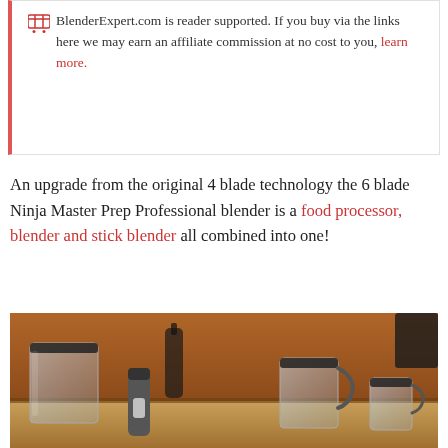BlenderExpert.com is reader supported. If you buy via the links here we may earn an affiliate commission at no cost to you, learn more.
An upgrade from the original 4 blade technology the 6 blade Ninja Master Prep Professional blender is a food processor, blender and stick blender all combined into one!
[Figure (photo): Photo of a Ninja Master Prep Professional blender set with multiple pitchers and attachments arranged on a kitchen counter with warm wooden background.]